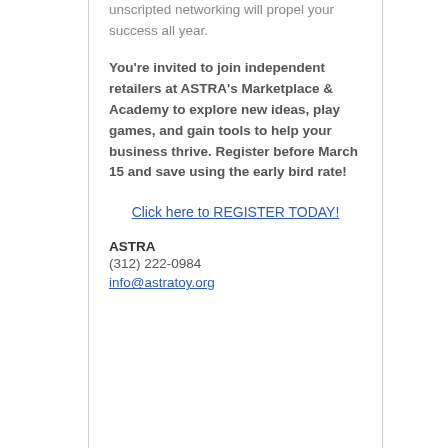unscripted networking will propel your success all year.
You’re invited to join independent retailers at ASTRA’s Marketplace & Academy to explore new ideas, play games, and gain tools to help your business thrive. Register before March 15 and save using the early bird rate!
Click here to REGISTER TODAY!
ASTRA
(312) 222-0984
info@astratoy.org